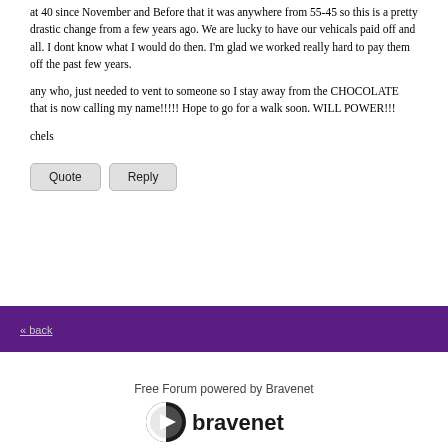at 40 since November and Before that it was anywhere from 55-45 so this is a pretty drastic change from a few years ago. We are lucky to have our vehicals paid off and all. I dont know what I would do then. I'm glad we worked really hard to pay them off the past few years.
any who, just needed to vent to someone so I stay away from the CHOCOLATE that is now calling my name!!!!! Hope to go for a walk soon. WILL POWER!!!
chels
Quote  Reply
« back
Free Forum powered by Bravenet
[Figure (logo): Bravenet logo — circular shield icon in black and white next to the word 'bravenet' in dark text]